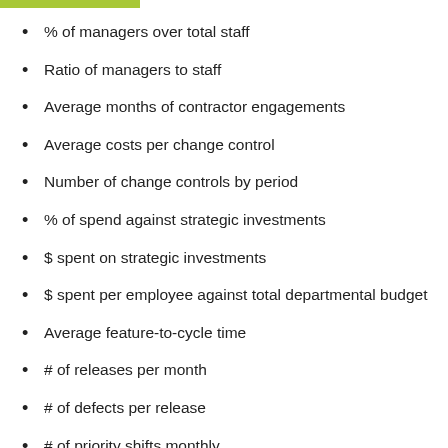% of managers over total staff
Ratio of managers to staff
Average months of contractor engagements
Average costs per change control
Number of change controls by period
% of spend against strategic investments
$ spent on strategic investments
$ spent per employee against total departmental budget
Average feature-to-cycle time
# of releases per month
# of defects per release
# of priority shifts monthly